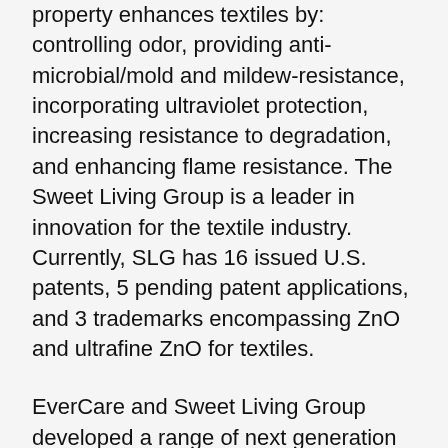property enhances textiles by: controlling odor, providing anti-microbial/mold and mildew-resistance, incorporating ultraviolet protection, increasing resistance to degradation, and enhancing flame resistance. The Sweet Living Group is a leader in innovation for the textile industry. Currently, SLG has 16 issued U.S. patents, 5 pending patent applications, and 3 trademarks encompassing ZnO and ultrafine ZnO for textiles.
EverCare and Sweet Living Group developed a range of next generation masterbatches which provide an unprecedented level of dispersion of zinc oxides. These masterbatches are described as the Upgraded Generation X, based on the EcoZinc® and Tenray® technology.
This new generation of masterbatches provides batch to batch performance guarantee and can be used to...